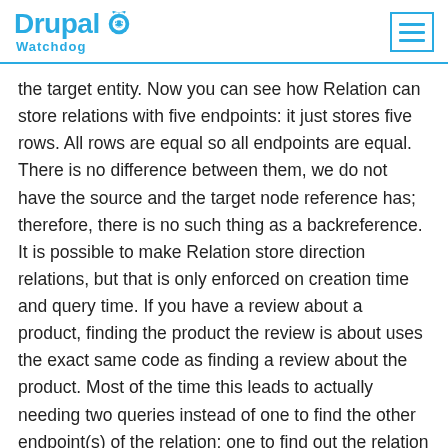Drupal Watchdog
the target entity. Now you can see how Relation can store relations with five endpoints: it just stores five rows. All rows are equal so all endpoints are equal. There is no difference between them, we do not have the source and the target node reference has; therefore, there is no such thing as a backreference. It is possible to make Relation store direction relations, but that is only enforced on creation time and query time. If you have a review about a product, finding the product the review is about uses the exact same code as finding a review about the product. Most of the time this leads to actually needing two queries instead of one to find the other endpoint(s) of the relation: one to find out the relation id, the other to load the relation entity. Flexibility always comes at a cost, alas.
To better understand an incredibly powerful feature of